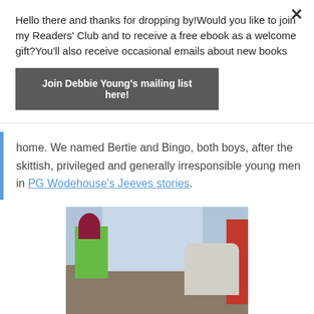Hello there and thanks for dropping by!Would you like to join my Readers' Club and to receive a free ebook as a welcome gift?You'll also receive occasional emails about new books
Join Debbie Young's mailing list here!
home. We named Bertie and Bingo, both boys, after the skittish, privileged and generally irresponsible young men in PG Wodehouse's Jeeves stories.
[Figure (photo): A cat sitting on a windowsill next to red tulips in a pot, with a snowy outdoor scene visible through the window and a red box on the right side.]